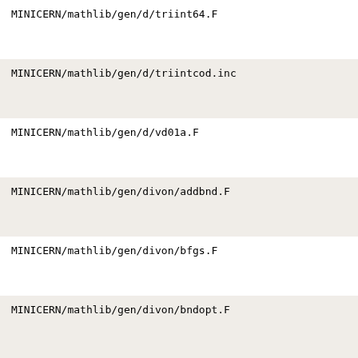MINICERN/mathlib/gen/d/triint64.F
MINICERN/mathlib/gen/d/triintcod.inc
MINICERN/mathlib/gen/d/vd01a.F
MINICERN/mathlib/gen/divon/addbnd.F
MINICERN/mathlib/gen/divon/bfgs.F
MINICERN/mathlib/gen/divon/bndopt.F